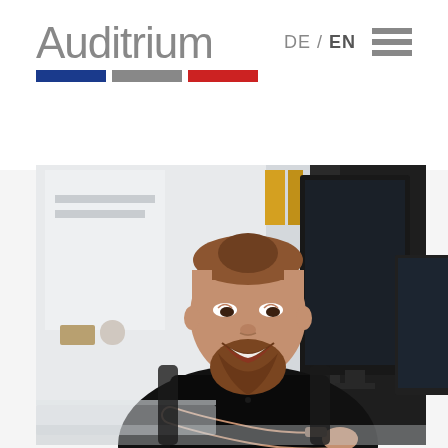Auditrium — DE / EN navigation header
[Figure (photo): Man with beard smiling at desk in office environment with computer monitors, wearing black shirt, bright office background with shelving]